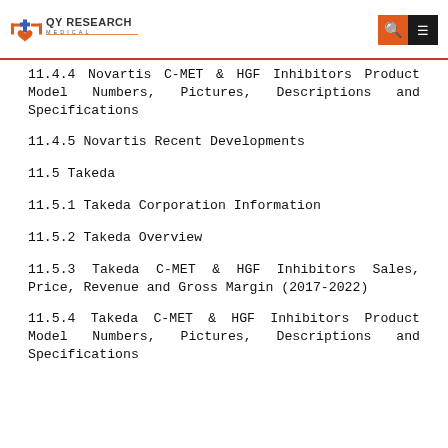QY Research Medical
11.4.4 Novartis C-MET & HGF Inhibitors Product Model Numbers, Pictures, Descriptions and Specifications
11.4.5 Novartis Recent Developments
11.5 Takeda
11.5.1 Takeda Corporation Information
11.5.2 Takeda Overview
11.5.3 Takeda C-MET & HGF Inhibitors Sales, Price, Revenue and Gross Margin (2017-2022)
11.5.4 Takeda C-MET & HGF Inhibitors Product Model Numbers, Pictures, Descriptions and Specifications